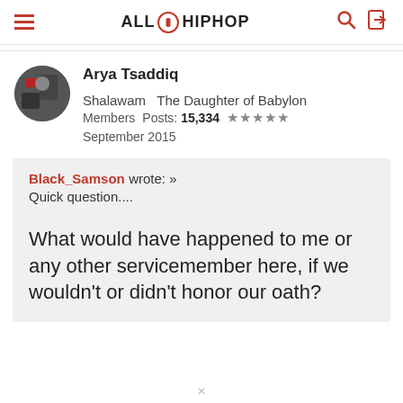ALLHIPHOP
Arya Tsaddiq  Shalawam  The Daughter of Babylon
Members  Posts: 15,334  ★★★★★
September 2015
Black_Samson wrote: »
Quick question....

What would have happened to me or any other servicemember here, if we wouldn't or didn't honor our oath?